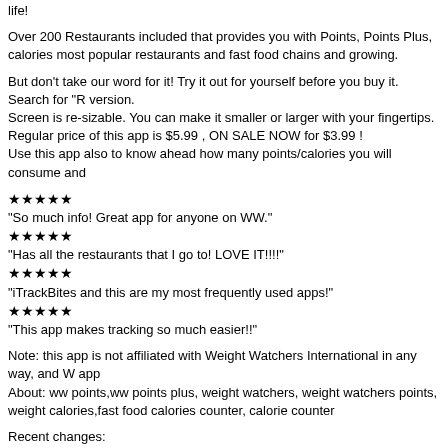life!
Over 200 Restaurants included that provides you with Points, Points Plus, calories most popular restaurants and fast food chains and growing.
But don't take our word for it! Try it out for yourself before you buy it. Search for "R version.
Screen is re-sizable. You can make it smaller or larger with your fingertips.
Regular price of this app is $5.99 , ON SALE NOW for $3.99 !
Use this app also to know ahead how many points/calories you will consume and
★★★★★
"So much info! Great app for anyone on WW."
★★★★★
"Has all the restaurants that I go to! LOVE IT!!!!"
★★★★★
"iTrackBites and this are my most frequently used apps!"
★★★★★
"This app makes tracking so much easier!!"
Note: this app is not affiliated with Weight Watchers International in any way, and W app
About: ww points,ww points plus, weight watchers, weight watchers points, weight calories,fast food calories counter, calorie counter
Recent changes:
- Updated restaurants and menu items
AppBrain Link: http://www.appbrain.com/app/restaurant-weight-watcher-lite/com.e
Latest Android App: Boost 2